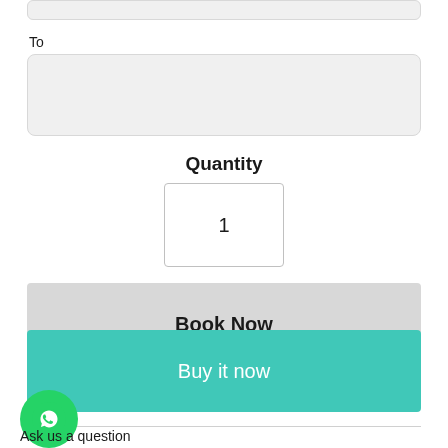[Figure (screenshot): Partial input field at top of page (cropped)]
To
[Figure (screenshot): Empty text input field labeled 'To']
Quantity
[Figure (screenshot): Quantity input box showing value 1]
Book Now
Buy it now
Ask us a question